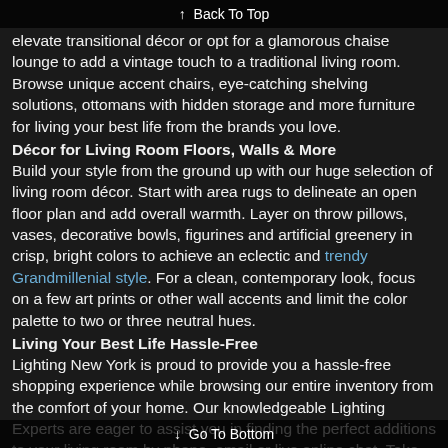↑ Back To Top
elevate transitional décor or opt for a glamorous chaise lounge to add a vintage touch to a traditional living room. Browse unique accent chairs, eye-catching shelving solutions, ottomans with hidden storage and more furniture for living your best life from the brands you love.
Décor for Living Room Floors, Walls & More
Build your style from the ground up with our huge selection of living room décor. Start with area rugs to delineate an open floor plan and add overall warmth. Layer on throw pillows, vases, decorative bowls, figurines and artificial greenery in crisp, bright colors to achieve an eclectic and trendy Grandmillenial style. For a clean, contemporary look, focus on a few art prints or other wall accents and limit the color palette to two or three neutral hues.
Living Your Best Life Hassle-Free
Lighting New York is proud to provide you a hassle-free shopping experience while browsing our entire inventory from the comfort of your home. Our knowledgeable Lighting Experts are eager to assist you in finding the perfect additions to your living room by phone, email or live online chat. Take comfort in knowing all qualifying orders ship for free and we have the simplest return policy in the industry. From decorative baskets to bar carts, candle holders to coat racks, create stylish, well-lit spaces
↓ Go To Bottom